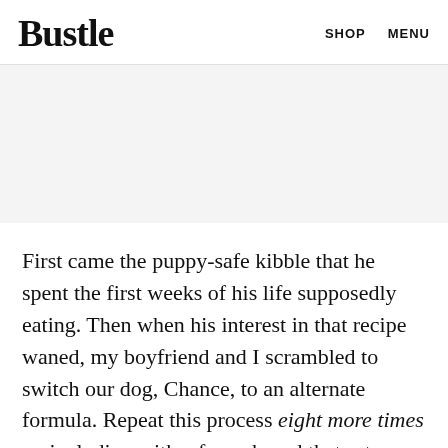Bustle  SHOP  MENU
[Figure (other): Gray advertisement banner placeholder area]
First came the puppy-safe kibble that he spent the first weeks of his life supposedly eating. Then when his interest in that recipe waned, my boyfriend and I scrambled to switch our dog, Chance, to an alternate formula. Repeat this process eight more times — including with a fancy brand that set us back $140